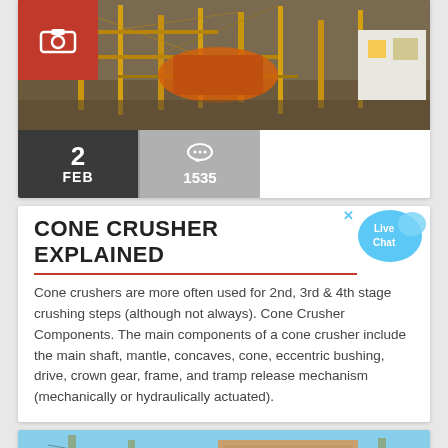[Figure (photo): Aerial view of industrial mining/crushing equipment with yellow scaffolding and machinery]
CONE CRUSHER EXPLAINED
Cone crushers are more often used for 2nd, 3rd & 4th stage crushing steps (although not always). Cone Crusher Components. The main components of a cone crusher include the main shaft, mantle, concaves, cone, eccentric bushing, drive, crown gear, frame, and tramp release mechanism (mechanically or hydraulically actuated).
[Figure (photo): Industrial building exterior with towers/silos against blue sky]